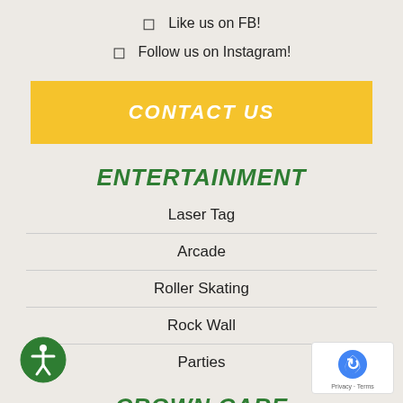Like us on FB!
Follow us on Instagram!
CONTACT US
ENTERTAINMENT
Laser Tag
Arcade
Roller Skating
Rock Wall
Parties
CROWN CARE
Before & After School Care
[Figure (logo): Green circular accessibility icon with person figure]
[Figure (logo): reCAPTCHA badge with Privacy and Terms text]